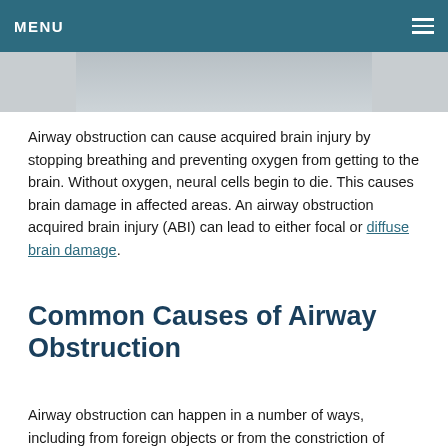MENU
[Figure (photo): Partial view of a person, cropped photo strip at the top of the content area]
Airway obstruction can cause acquired brain injury by stopping breathing and preventing oxygen from getting to the brain. Without oxygen, neural cells begin to die. This causes brain damage in affected areas. An airway obstruction acquired brain injury (ABI) can lead to either focal or diffuse brain damage.
Common Causes of Airway Obstruction
Airway obstruction can happen in a number of ways, including from foreign objects or from the constriction of